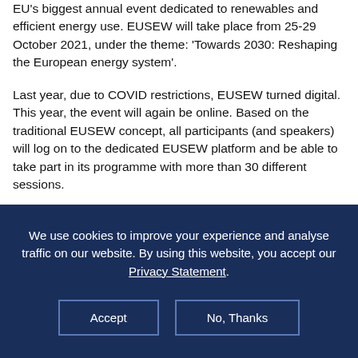EU's biggest annual event dedicated to renewables and efficient energy use. EUSEW will take place from 25-29 October 2021, under the theme: 'Towards 2030: Reshaping the European energy system'.
Last year, due to COVID restrictions, EUSEW turned digital. This year, the event will again be online. Based on the traditional EUSEW concept, all participants (and speakers) will log on to the dedicated EUSEW platform and be able to take part in its programme with more than 30 different sessions.
We use cookies to improve your experience and analyse traffic on our website. By using this website, you accept our Privacy Statement.